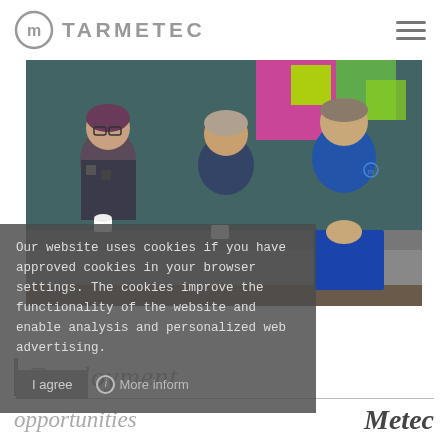[Figure (logo): Tarmetec logo: circular 'm' symbol in grey with 'TARMETEC' text in grey caps beside it]
[Figure (photo): Three people sitting on a sofa having a conversation with coffee cups; two men in dark blue shirts and a woman in a patterned top; colourful artwork on wall behind them]
Our website uses cookies if you have approved cookies in your browser settings. The cookies improve the functionality of the website and enable analysis and personalized web advertising.
I agree
More inform
| Employment
opportunities at Metec